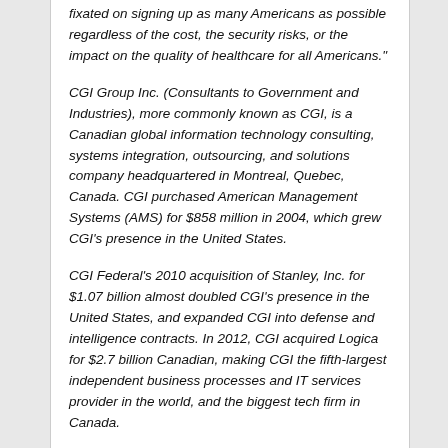fixated on signing up as many Americans as possible regardless of the cost, the security risks, or the impact on the quality of healthcare for all Americans."
CGI Group Inc. (Consultants to Government and Industries), more commonly known as CGI, is a Canadian global information technology consulting, systems integration, outsourcing, and solutions company headquartered in Montreal, Quebec, Canada. CGI purchased American Management Systems (AMS) for $858 million in 2004, which grew CGI's presence in the United States.
CGI Federal's 2010 acquisition of Stanley, Inc. for $1.07 billion almost doubled CGI's presence in the United States, and expanded CGI into defense and intelligence contracts. In 2012, CGI acquired Logica for $2.7 billion Canadian, making CGI the fifth-largest independent business processes and IT services provider in the world, and the biggest tech firm in Canada.
In 2016 CGI ranked No. 955 on the